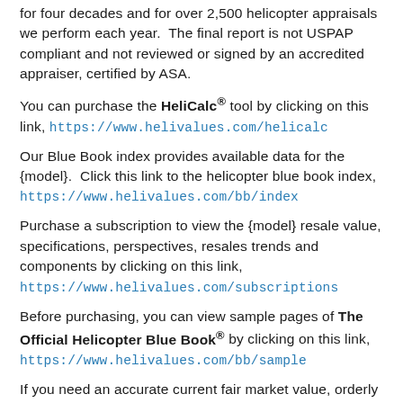for four decades and for over 2,500 helicopter appraisals we perform each year.  The final report is not USPAP compliant and not reviewed or signed by an accredited appraiser, certified by ASA.
You can purchase the HeliCalc® tool by clicking on this link, https://www.helivalues.com/helicalc
Our Blue Book index provides available data for the {model}.  Click this link to the helicopter blue book index, https://www.helivalues.com/bb/index
Purchase a subscription to view the {model} resale value, specifications, perspectives, resales trends and components by clicking on this link, https://www.helivalues.com/subscriptions
Before purchasing, you can view sample pages of The Official Helicopter Blue Book® by clicking on this link, https://www.helivalues.com/bb/sample
If you need an accurate current fair market value, orderly liquidation value or net orderly liquidation value for your helicopter, a helicopter appraisal report ...